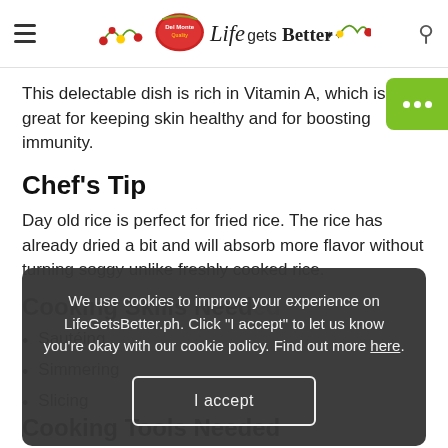Del Monte Life Gets Better
This delectable dish is rich in Vitamin A, which is great for keeping skin healthy and for boosting immunity.
Chef's Tip
Day old rice is perfect for fried rice. The rice has already dried a bit and will absorb more flavor without turning soggy unlike freshly cooked rice.
Cooking Skills Needed
Sautéing
Simmering
Slicing
We use cookies to improve your experience on LifeGetsBetter.ph. Click "I accept" to let us know you're okay with our cookie policy. Find out more here.
Cooking Tools Needed